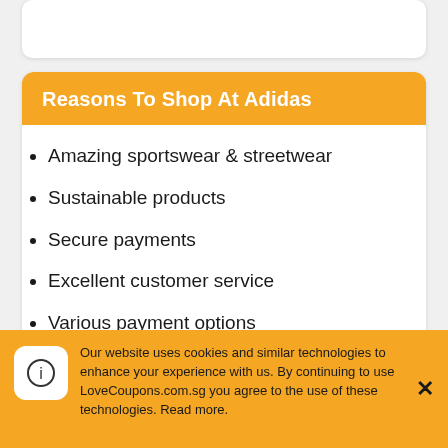Reasons To Shop At Adidas
Amazing sportswear & streetwear
Sustainable products
Secure payments
Excellent customer service
Various payment options
Adidas Reviews
Our website uses cookies and similar technologies to enhance your experience with us. By continuing to use LoveCoupons.com.sg you agree to the use of these technologies. Read more.